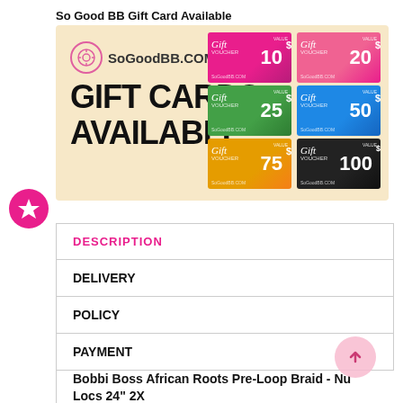So Good BB Gift Card Available
[Figure (illustration): SoGoodBB.COM gift cards available banner showing 6 gift cards with values $10, $20, $25, $50, $75, $100 on a cream/tan background]
| DESCRIPTION |
| DELIVERY |
| POLICY |
| PAYMENT |
Bobbi Boss African Roots Pre-Loop Braid - Nu Locs 24" 2X